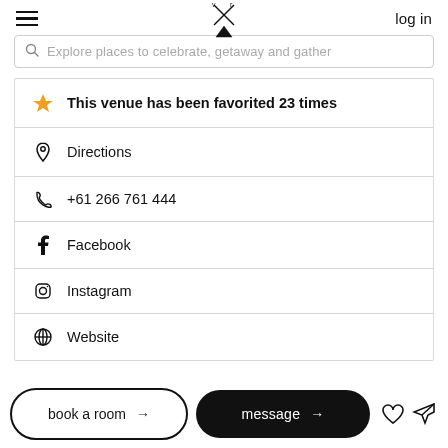log in
Explore places to celebrate, getaway and gather
This venue has been favorited 23 times
Directions
+61 266 761 444
Facebook
Instagram
Website
book a room →
message →